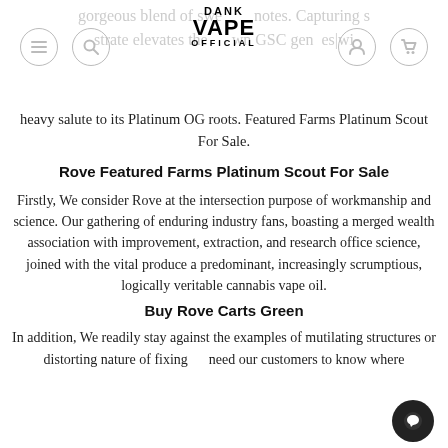DANK VAPE OFFICIAL
heavy salute to its Platinum OG roots. Featured Farms Platinum Scout For Sale.
Rove Featured Farms Platinum Scout For Sale
Firstly, We consider Rove at the intersection purpose of workmanship and science. Our gathering of enduring industry fans, boasting a merged wealth association with improvement, extraction, and research office science, joined with the vital produce a predominant, increasingly scrumptious, logically veritable cannabis vape oil.
Buy Rove Carts Green
In addition, We readily stay against the examples of mutilating structures or distorting nature of fixings need our customers to know where